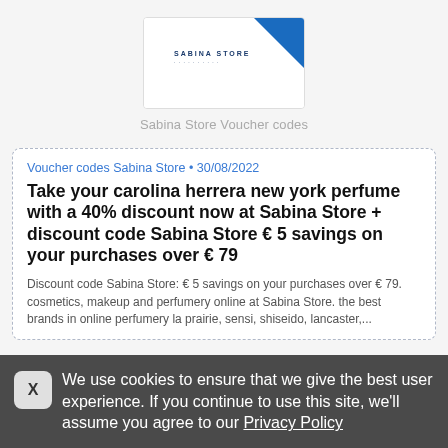[Figure (logo): Sabina Store logo partially visible at top of page with blue triangle graphic element]
Sabina Store Voucher codes
Voucher codes Sabina Store • 30/08/2022
Take your carolina herrera new york perfume with a 40% discount now at Sabina Store + discount code Sabina Store € 5 savings on your purchases over € 79
Discount code Sabina Store: € 5 savings on your purchases over € 79. cosmetics, makeup and perfumery online at Sabina Store. the best brands in online perfumery la prairie, sensi, shiseido, lancaster,...
We use cookies to ensure that we give the best user experience. If you continue to use this site, we'll assume you agree to our Privacy Policy